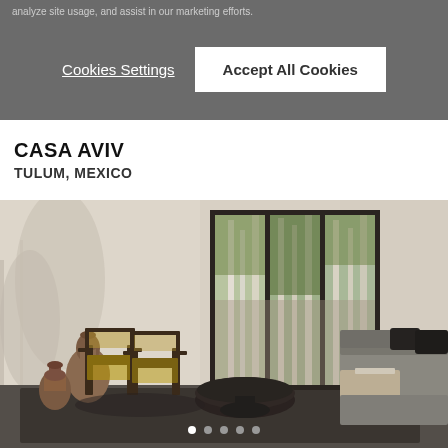analyze site usage, and assist in our marketing efforts.
Cookies Settings
Accept All Cookies
CASA AVIV
TULUM, MEXICO
[Figure (photo): Interior living room of Casa Aviv in Tulum, Mexico. The room features white plaster walls, dark wood and cane lounge chairs (Chandigarh style), a low round dark stone coffee table, a large grey modular sofa with dark cushions on the right, terracotta ceramic vases on the left, a dark area rug, and large floor-to-ceiling dark-framed windows overlooking lush tropical jungle with white birch trees and green foliage and a stone wall. Dappled sunlight creates shadow patterns on the left wall.]